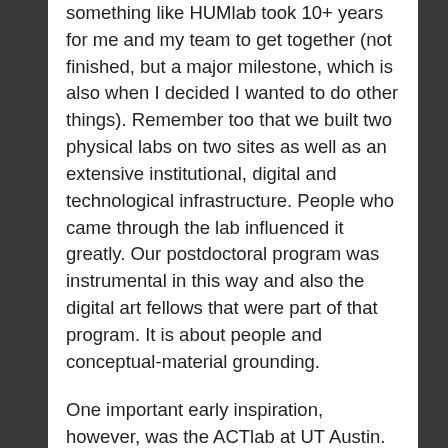something like HUMlab took 10+ years for me and my team to get together (not finished, but a major milestone, which is also when I decided I wanted to do other things). Remember too that we built two physical labs on two sites as well as an extensive institutional, digital and technological infrastructure. People who came through the lab influenced it greatly. Our postdoctoral program was instrumental in this way and also the digital art fellows that were part of that program. It is about people and conceptual-material grounding.
One important early inspiration, however, was the ACTlab at UT Austin. Torbjörn Johansson had seen ACTlab earlier I think; Sandy Stone and Samantha Krukowski also visited Umeå and I went to see the ACTlab shortly afterwards in 2001. I still look at those photos sometimes. What impressed me was the actual space, the